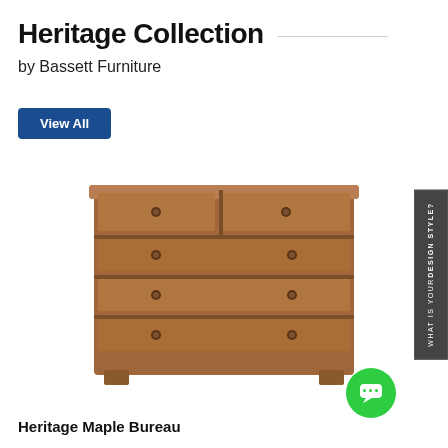Heritage Collection
by Bassett Furniture
View All
[Figure (photo): A wooden multi-drawer bureau (Heritage Maple Bureau) with rustic maple finish, featuring two small top drawers and four larger lower drawers with round knob handles.]
Heritage Maple Bureau